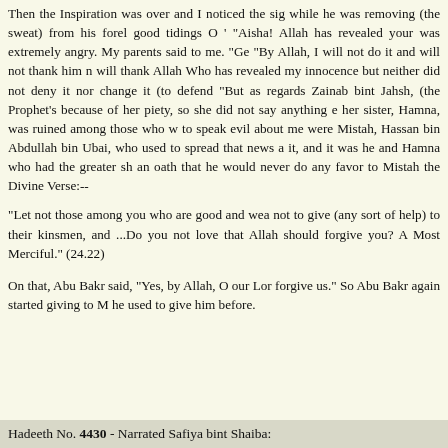Then the Inspiration was over and I noticed the sig while he was removing (the sweat) from his forel good tidings O ' "Aisha! Allah has revealed your was extremely angry. My parents said to me. "Ge "By Allah, I will not do it and will not thank him n will thank Allah Who has revealed my innocence but neither did not deny it nor change it (to defend "But as regards Zainab bint Jahsh, (the Prophet's because of her piety, so she did not say anything e her sister, Hamna, was ruined among those who w to speak evil about me were Mistah, Hassan bin Abdullah bin Ubai, who used to spread that news a it, and it was he and Hamna who had the greater sh an oath that he would never do any favor to Mistah the Divine Verse:--
"Let not those among you who are good and wea not to give (any sort of help) to their kinsmen, and ...Do you not love that Allah should forgive you? A Most Merciful." (24.22)
On that, Abu Bakr said, "Yes, by Allah, O our Lor forgive us." So Abu Bakr again started giving to M he used to give him before.
Hadeeth No. 4430 - Narrated Safiya bint Shaiba: